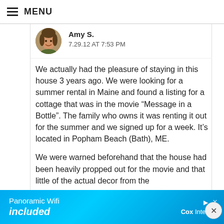MENU
[Figure (photo): Round avatar photo of Amy S., a woman smiling, with brown hair]
Amy S.
7.29.12 AT 7:53 PM
We actually had the pleasure of staying in this house 3 years ago. We were looking for a summer rental in Maine and found a listing for a cottage that was in the movie “Message in a Bottle”. The family who owns it was renting it out for the summer and we signed up for a week. It’s located in Popham Beach (Bath), ME.
We were warned beforehand that the house had been heavily propped out for the movie and that little of the actual decor from the m... fi...
[Figure (advertisement): Cox Internet ad banner: Panoramic Wifi included]